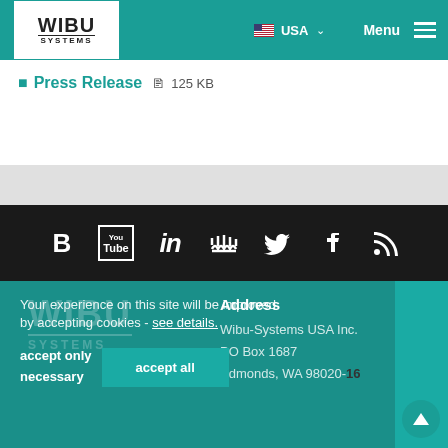[Figure (screenshot): Wibu-Systems website header navigation bar with logo, USA flag, country selector, Menu button and hamburger icon on teal background]
Press Release  125 KB
[Figure (infographic): Social media icons bar on dark background: Bloglovin, YouTube, LinkedIn, Meetup/analytics, Twitter, Facebook, RSS]
[Figure (logo): Wibu-Systems large watermark logo in teal footer]
Address
Wibu-Systems USA Inc.
PO Box 1687
Edmonds, WA 98020-16
Your experience on this site will be improved by accepting cookies - see details.
accept only necessary
accept all